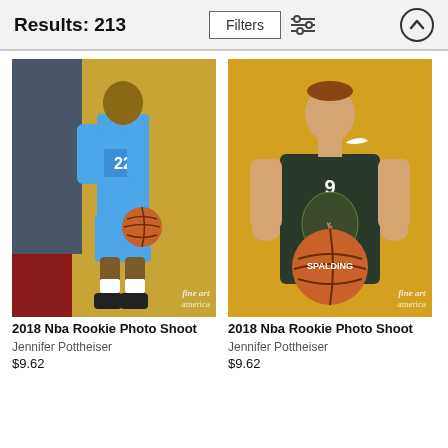Results: 213
Filters
[Figure (photo): NBA player wearing Oklahoma City Thunder #22 blue jersey, holding a basketball, standing full-body against yellow/dark background. Fine Art America watermark.]
[Figure (photo): NBA player wearing Milwaukee Bucks #9 dark green jersey, holding a Spalding basketball, upper-body shot against yellow background. Fine Art America watermark.]
2018 Nba Rookie Photo Shoot
Jennifer Pottheiser
$9.62
2018 Nba Rookie Photo Shoot
Jennifer Pottheiser
$9.62